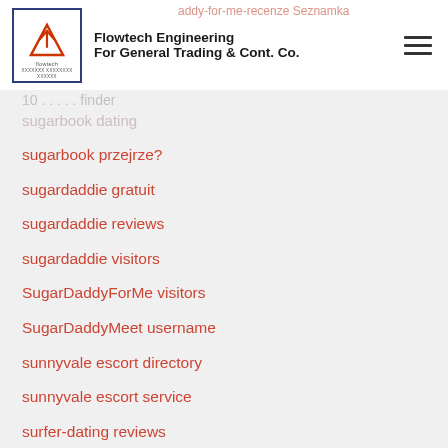Flowtech Engineering For General Trading & Cont. Co.
sugarbook przejrze?
sugardaddie gratuit
sugardaddie reviews
sugardaddie visitors
SugarDaddyForMe visitors
SugarDaddyMeet username
sunnyvale escort directory
sunnyvale escort service
surfer-dating reviews
surprise escort
surprise escort near me